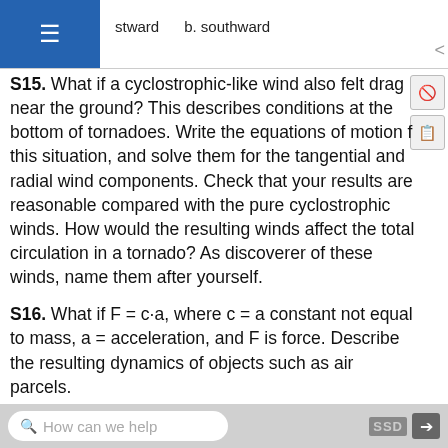stward   b. southward
S15. What if a cyclostrophic-like wind also felt drag near the ground? This describes conditions at the bottom of tornadoes. Write the equations of motion for this situation, and solve them for the tangential and radial wind components. Check that your results are reasonable compared with the pure cyclostrophic winds. How would the resulting winds affect the total circulation in a tornado? As discoverer of these winds, name them after yourself.
S16. What if F = c·a, where c = a constant not equal to mass, a = acceleration, and F is force. Describe the resulting dynamics of objects such as air parcels.
S17. What if pressure-gradient force acted parallel to
How can we help